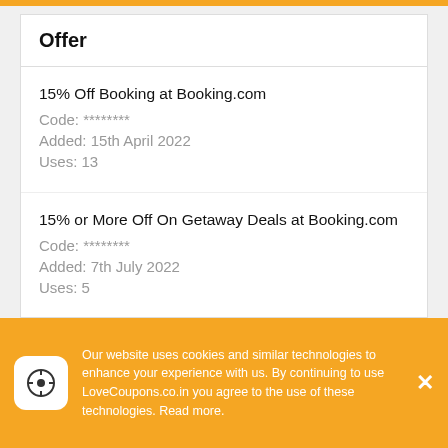Offer
15% Off Booking at Booking.com
Code: ********
Added: 15th April 2022
Uses: 13
15% or More Off On Getaway Deals at Booking.com
Code: ********
Added: 7th July 2022
Uses: 5
At Least 15% Off 2022 Local Breaks & Global Stays at Booking.com
Code: ********
Our website uses cookies and similar technologies to enhance your experience with us. By continuing to use LoveCoupons.co.in you agree to the use of these technologies. Read more.